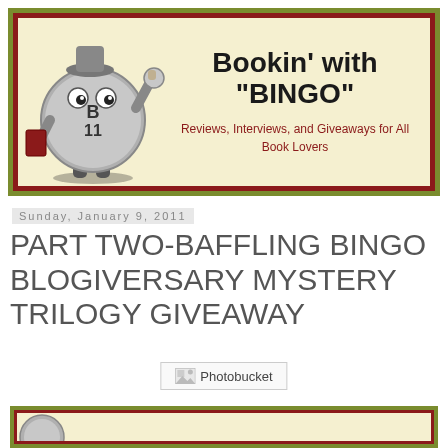[Figure (illustration): Bookin' with BINGO blog header banner. Features a cartoon bingo ball character holding a book on the left, and text reading 'Bookin' with BINGO' in large handwritten style font, with subtitle 'Reviews, Interviews, and Giveaways for All Book Lovers' in red. Background is cream/yellow with dark red border and olive green outer border.]
Sunday, January 9, 2011
PART TWO-BAFFLING BINGO BLOGIVERSARY MYSTERY TRILOGY GIVEAWAY
[Figure (photo): Photobucket image placeholder showing broken image icon with 'Photobucket' text label]
[Figure (illustration): Partial view of another banner/image at the bottom of the page, showing the top portion with similar red and olive green border styling]